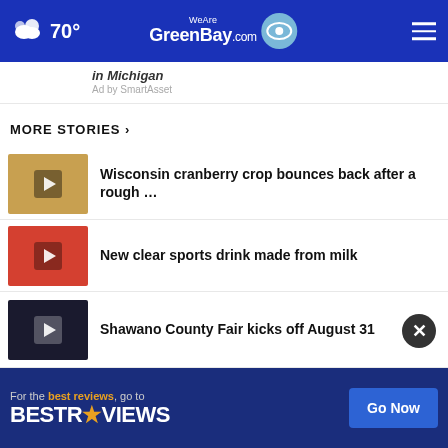70° WeAreGreenBay.com
in Michigan
Ad by SmartAsset
MORE STORIES ›
Wisconsin cranberry crop bounces back after a rough …
New clear sports drink made from milk
Shawano County Fair kicks off August 31
Applications open for classrooms to
New directory connects consumers
[Figure (screenshot): Advertisement banner: For the best reviews, go to BESTREVIEWS with Go Now button]
For the best reviews, go to BESTREVIEWS Go Now